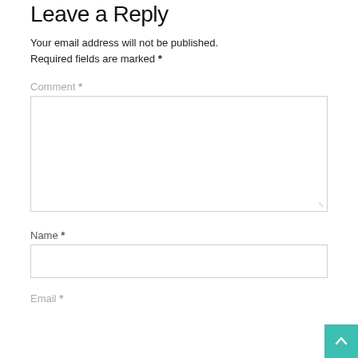Leave a Reply
Your email address will not be published. Required fields are marked *
Comment *
[Figure (screenshot): A large empty comment textarea input box with a resize handle in the bottom right corner]
Name *
[Figure (screenshot): A single-line text input box for name]
Email *